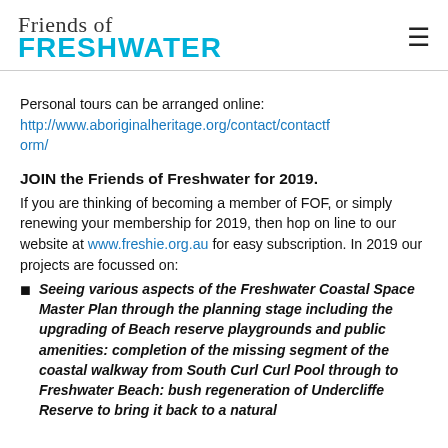Friends of FRESHWATER
Personal tours can be arranged online: http://www.aboriginalheritage.org/contact/contactform/
JOIN the Friends of Freshwater for 2019.
If you are thinking of becoming a member of FOF, or simply renewing your membership for 2019, then hop on line to our website at www.freshie.org.au for easy subscription. In 2019 our projects are focussed on:
Seeing various aspects of the Freshwater Coastal Space Master Plan through the planning stage including the upgrading of Beach reserve playgrounds and public amenities: completion of the missing segment of the coastal walkway from South Curl Curl Pool through to Freshwater Beach: bush regeneration of Undercliffe Reserve to bring it back to a natural